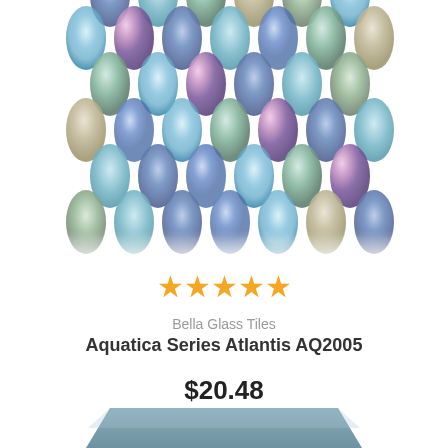[Figure (photo): Mosaic glass tile product photo showing diamond/teardrop shaped iridescent glass tiles in blue, green, and gray tones arranged in a pattern, partially cropped at top]
★★★★★
Bella Glass Tiles
Aquatica Series Atlantis AQ2005
$20.48
[Figure (photo): Blue-gray rectangular glass tile swatch partially visible at bottom of page]